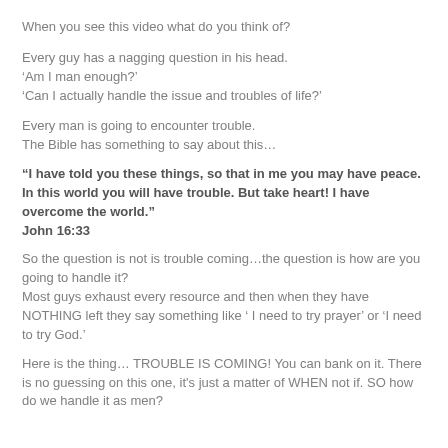When you see this video what do you think of?
Every guy has a nagging question in his head.
‘Am I man enough?’
‘Can I actually handle the issue and troubles of life?’
Every man is going to encounter trouble.
The Bible has something to say about this…
“I have told you these things, so that in me you may have peace. In this world you will have trouble. But take heart! I have overcome the world.”
John 16:33
So the question is not is trouble coming…the question is how are you going to handle it?
Most guys exhaust every resource and then when they have NOTHING left they say something like ‘ I need to try prayer’ or ‘I need to try God.’
Here is the thing… TROUBLE IS COMING! You can bank on it. There is no guessing on this one, it's just a matter of WHEN not if. SO how do we handle it as men?